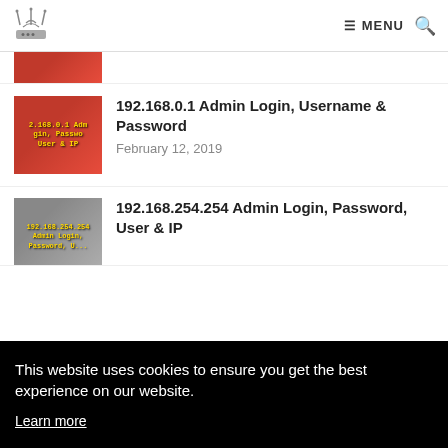Router Admin Login site — MENU
[Figure (photo): Partial thumbnail of a router-related article, cropped at top]
192.168.0.1 Admin Login, Username & Password
February 12, 2019
[Figure (photo): Thumbnail showing '192.168.254.254 Admin Login, Password, User & IP' article image with yellow text on grey background]
192.168.254.254 Admin Login, Password, User & IP
This website uses cookies to ensure you get the best experience on our website. Learn more